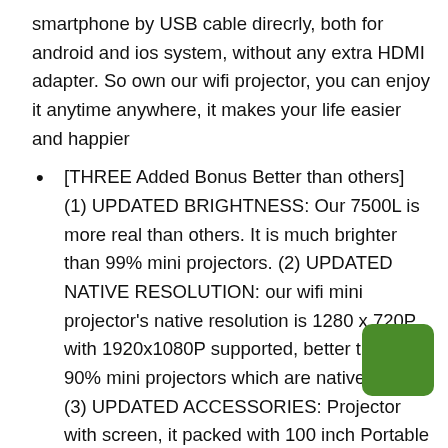smartphone by USB cable direcrly, both for android and ios system, without any extra HDMI adapter. So own our wifi projector, you can enjoy it anytime anywhere, it makes your life easier and happier
[THREE Added Bonus Better than others] (1) UPDATED BRIGHTNESS: Our 7500L is more real than others. It is much brighter than 99% mini projectors. (2) UPDATED NATIVE RESOLUTION: our wifi mini projector's native resolution is 1280 x 720P, with 1920x1080P supported, better than 90% mini projectors which are native 480P. (3) UPDATED ACCESSORIES: Projector with screen, it packed with 100 inch Portable projector screen for our customers' Daily home theater use.
[Meet Your Home Needs]Watch movies, take online classes, or keep the kids entertained with hours of